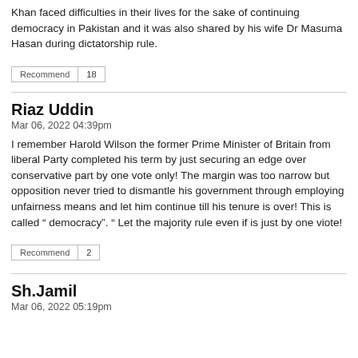Khan faced difficulties in their lives for the sake of continuing democracy in Pakistan and it was also shared by his wife Dr Masuma Hasan during dictatorship rule.
Recommend | 18
Riaz Uddin
Mar 06, 2022 04:39pm
I remember Harold Wilson the former Prime Minister of Britain from liberal Party completed his term by just securing an edge over conservative part by one vote only! The margin was too narrow but opposition never tried to dismantle his government through employing unfairness means and let him continue till his tenure is over! This is called " democracy". " Let the majority rule even if is just by one viote!
Recommend | 2
Sh.Jamil
Mar 06, 2022 05:19pm